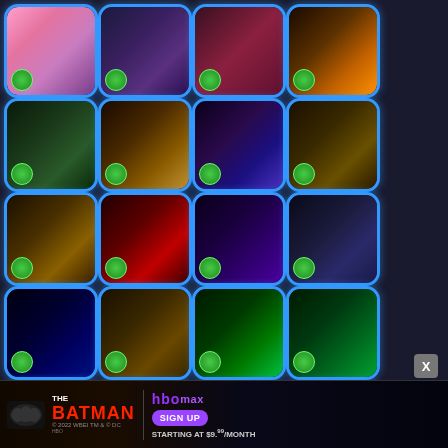[Figure (screenshot): Grid of game app icons with blue rounded borders, each showing fantasy/horror themed artwork with a small fish badge in bottom left corner. Rows of 4 game tiles showing various dark themed games.]
[Figure (infographic): The Batman advertisement banner with HBO Max sign up promotion. Shows 'THE BATMAN' title in red, HBO Max logo in purple, SIGN UP button, and 'STARTING AT $9.99/MONTH' text. Close X button visible.]